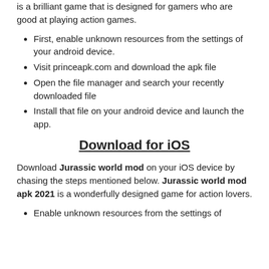is a brilliant game that is designed for gamers who are good at playing action games.
First, enable unknown resources from the settings of your android device.
Visit princeapk.com and download the apk file
Open the file manager and search your recently downloaded file
Install that file on your android device and launch the app.
Download for iOS
Download Jurassic world mod on your iOS device by chasing the steps mentioned below. Jurassic world mod apk 2021 is a wonderfully designed game for action lovers.
Enable unknown resources from the settings of